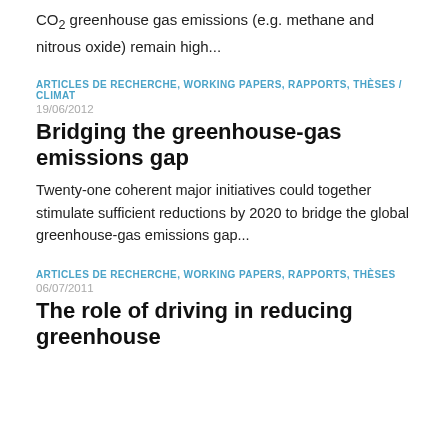CO₂ greenhouse gas emissions (e.g. methane and nitrous oxide) remain high...
ARTICLES DE RECHERCHE, WORKING PAPERS, RAPPORTS, THÈSES / CLIMAT
19/06/2012
Bridging the greenhouse-gas emissions gap
Twenty-one coherent major initiatives could together stimulate sufficient reductions by 2020 to bridge the global greenhouse-gas emissions gap...
ARTICLES DE RECHERCHE, WORKING PAPERS, RAPPORTS, THÈSES
06/07/2011
The role of driving in reducing greenhouse